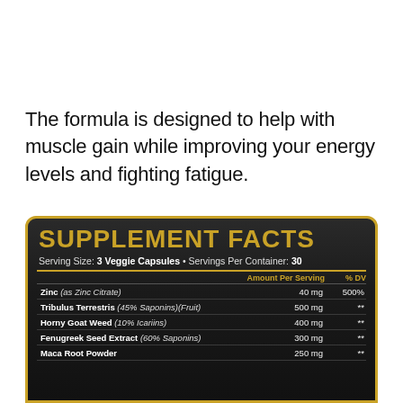The formula is designed to help with muscle gain while improving your energy levels and fighting fatigue.
[Figure (other): Supplement Facts panel on dark background with gold text. Serving Size: 3 Veggie Capsules. Servings Per Container: 30. Ingredients: Zinc (as Zinc Citrate) 40 mg 500% DV; Tribulus Terrestris (45% Saponins)(Fruit) 500 mg **; Horny Goat Weed (10% Icariins) 400 mg **; Fenugreek Seed Extract (60% Saponins) 300 mg **; Maca Root Powder 250 mg **]